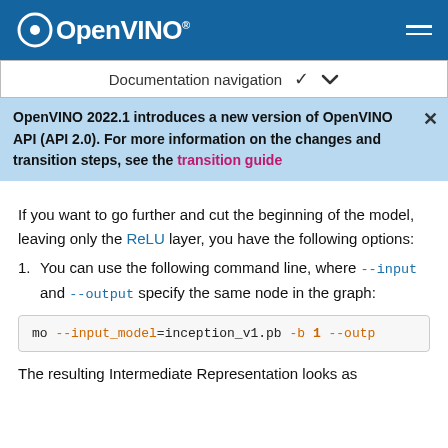OpenVINO
Documentation navigation
OpenVINO 2022.1 introduces a new version of OpenVINO API (API 2.0). For more information on the changes and transition steps, see the transition guide
If you want to go further and cut the beginning of the model, leaving only the ReLU layer, you have the following options:
You can use the following command line, where --input and --output specify the same node in the graph:
mo --input_model=inception_v1.pb -b 1 --outp
The resulting Intermediate Representation looks as